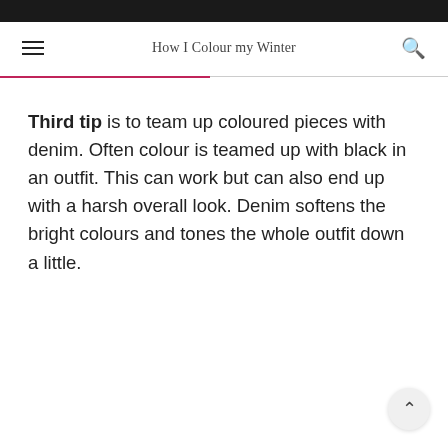How I Colour my Winter
Third tip is to team up coloured pieces with denim. Often colour is teamed up with black in an outfit. This can work but can also end up with a harsh overall look. Denim softens the bright colours and tones the whole outfit down a little.